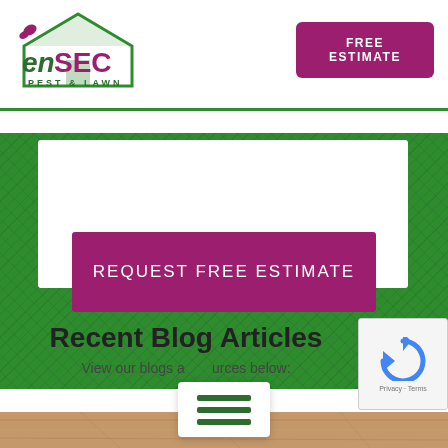[Figure (logo): EnSEC Pest & Lawn logo with house icon and butterfly]
FREE ESTIMATE
[Figure (screenshot): Green textured banner section with white form box]
REQUEST FREE ESTIMATE
Recent Blog Articles
View our blogs and resources below:
[Figure (photo): Bottom sandy/wood texture image strip]